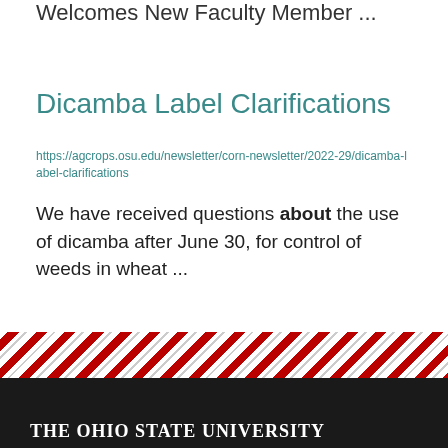Welcomes New Faculty Member ...
Dicamba Label Clarifications
https://agcrops.osu.edu/newsletter/corn-newsletter/2022-29/dicamba-label-clarifications
We have received questions about the use of dicamba after June 30, for control of weeds in wheat ...
1 2 3 4 5 6 7 8 9 …next › last »
[Figure (illustration): Ohio State University diagonal red and white striped banner bar]
The Ohio State University